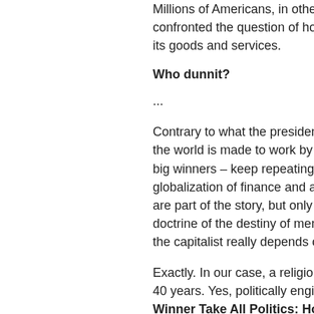Millions of Americans, in other wo confronted the question of how w its goods and services.
Who dunnit?
...
Contrary to what the president sa the world is made to work by thos big winners – keep repeating the globalization of finance and adva are part of the story, but only part doctrine of the destiny of men, th the capitalist really depends on s
Exactly. In our case, a religion of 40 years. Yes, politically enginee Winner Take All Politics: How W on the Middle Class by Jacob H of political science.